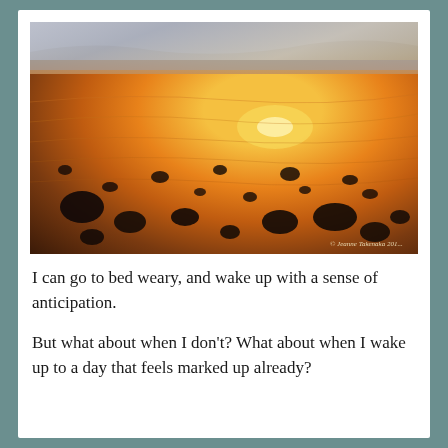[Figure (photo): Beach at sunset with golden orange light reflecting on wet sand and scattered dark stones/pebbles, with ocean waves at the top. Watermark reads '© Jeanne Takenaka 201_' in bottom right corner.]
I can go to bed weary, and wake up with a sense of anticipation.
But what about when I don't? What about when I wake up to a day that feels marked up already?